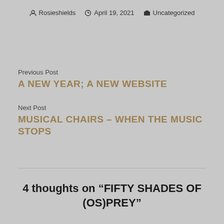Rosieshields  April 19, 2021  Uncategorized
Previous Post
A NEW YEAR; A NEW WEBSITE
Next Post
MUSICAL CHAIRS – WHEN THE MUSIC STOPS
4 thoughts on “FIFTY SHADES OF (OS)PREY”